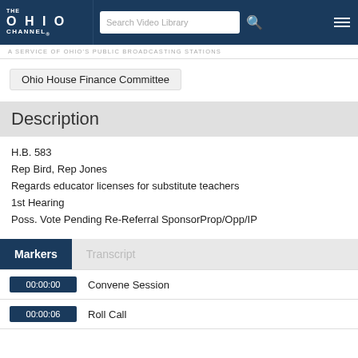THE OHIO CHANNEL - A SERVICE OF OHIO'S PUBLIC BROADCASTING STATIONS
Ohio House Finance Committee
Description
H.B. 583
Rep Bird, Rep Jones
Regards educator licenses for substitute teachers
1st Hearing
Poss. Vote Pending Re-Referral SponsorProp/Opp/IP
Markers	Transcript
| Time | Label |
| --- | --- |
| 00:00:00 | Convene Session |
| 00:00:06 | Roll Call |